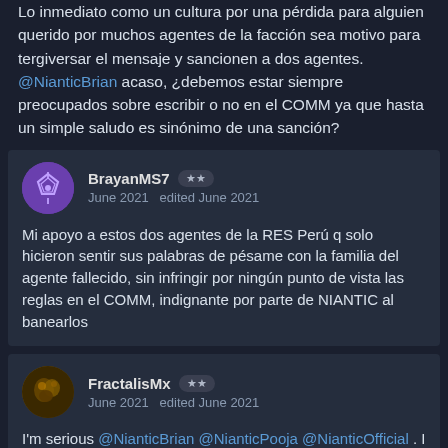Lo inmediato como un cultura por una pérdida para alguien querido por muchos agentes de la facción sea motivo para tergiversar el mensaje y sancionen a dos agentes. @NianticBrian acaso, ¿debemos estar siempre preocupados sobre escribir o no en el COMM ya que hasta un simple saludo es sinónimo de una sanción?
BrayanMS7 ★★ June 2021 edited June 2021
Mi apoyo a estos dos agentes de la RES Perú q solo hicieron sentir sus palabras de pésame con la familia del agente fallecido, sin infringir por ningún punto de vista las reglas en el COMM, indignante por parte de NIANTIC al banearlos
FractalisMx ★★ June 2021 edited June 2021
I'm serious @NianticBrian @NianticPooja @NianticOfficial . I have seen areas of my country kidnapped by spoofers, a clear example being Ixtapaluca, State of Mexico, Mexico has been